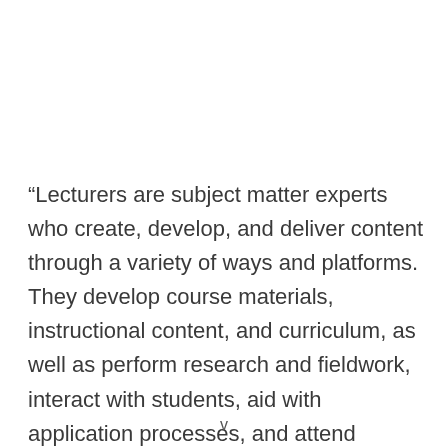“Lecturers are subject matter experts who create, develop, and deliver content through a variety of ways and platforms. They develop course materials, instructional content, and curriculum, as well as perform research and fieldwork, interact with students, aid with application processes, and attend
v